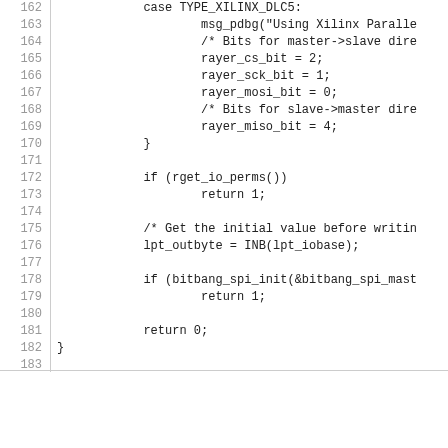[Figure (screenshot): Source code listing lines 162-186 showing C code with a switch case for TYPE_XILINX_DLC5, setting rayer bit variables, checking rget_io_perms(), getting initial lpt value, initializing bitbang_spi, and preprocessor directives #else, #error, #endif]
IntegriCloud logo with IBM POWER8 badge